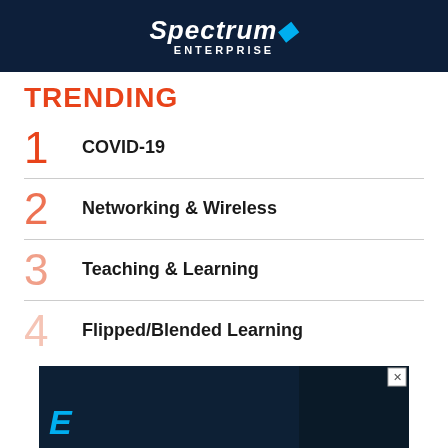[Figure (logo): Spectrum Enterprise logo on dark navy background, white text with blue dot]
TRENDING
1 COVID-19
2 Networking & Wireless
3 Teaching & Learning
4 Flipped/Blended Learning
[Figure (photo): Advertisement banner at bottom showing dark image with blue teal text overlay, partial text visible starting with 'E']